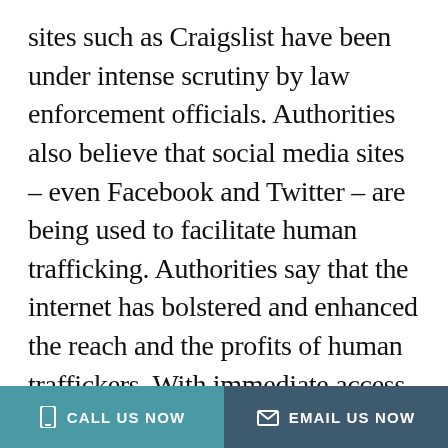sites such as Craigslist have been under intense scrutiny by law enforcement officials. Authorities also believe that social media sites – even Facebook and Twitter – are being used to facilitate human trafficking. Authorities say that the internet has bolstered and enhanced the reach and the profits of human traffickers. With immediate access to a wide clientele, “pimps” can find more customers online
CALL US NOW   EMAIL US NOW